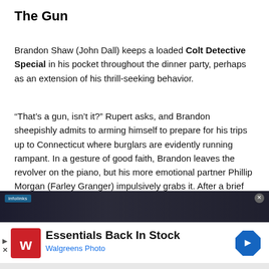The Gun
Brandon Shaw (John Dall) keeps a loaded Colt Detective Special in his pocket throughout the dinner party, perhaps as an extension of his thrill-seeking behavior.
“That’s a gun, isn’t it?” Rupert asks, and Brandon sheepishly admits to arming himself to prepare for his trips up to Connecticut where burglars are evidently running rampant. In a gesture of good faith, Brandon leaves the revolver on the piano, but his more emotional partner Phillip Morgan (Farley Granger) impulsively grabs it. After a brief struggle, a slightly wounded Rupert gets control of the weapon and fires three shots out the window to attract police.
[Figure (screenshot): Advertisement banner: dark strip at top showing infolinks label and close button, white area below showing Walgreens logo, text 'Essentials Back In Stock' in bold black, 'Walgreens Photo' in blue, and a blue diamond-shaped arrow icon on the right.]